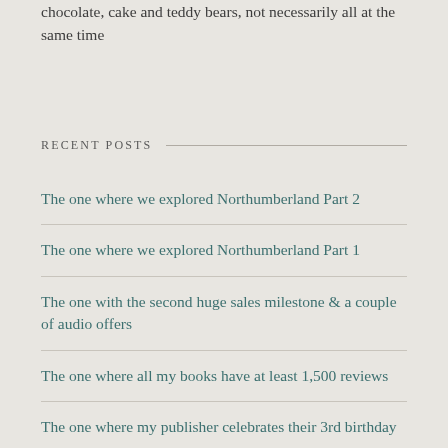chocolate, cake and teddy bears, not necessarily all at the same time
RECENT POSTS
The one where we explored Northumberland Part 2
The one where we explored Northumberland Part 1
The one with the second huge sales milestone & a couple of audio offers
The one where all my books have at least 1,500 reviews
The one where my publisher celebrates their 3rd birthday